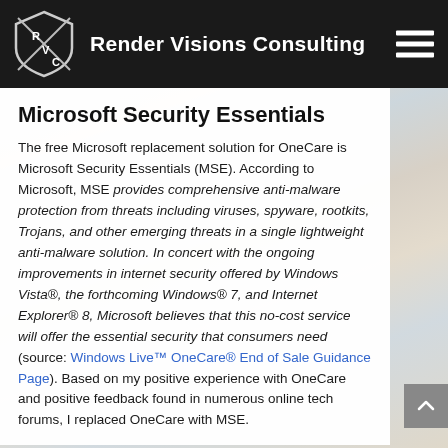Render Visions Consulting
Microsoft Security Essentials
The free Microsoft replacement solution for OneCare is Microsoft Security Essentials (MSE). According to Microsoft, MSE provides comprehensive anti-malware protection from threats including viruses, spyware, rootkits, Trojans, and other emerging threats in a single lightweight anti-malware solution. In concert with the ongoing improvements in internet security offered by Windows Vista®, the forthcoming Windows® 7, and Internet Explorer® 8, Microsoft believes that this no-cost service will offer the essential security that consumers need (source: Windows Live™ OneCare® End of Sale Guidance Page). Based on my positive experience with OneCare and positive feedback found in numerous online tech forums, I replaced OneCare with MSE.